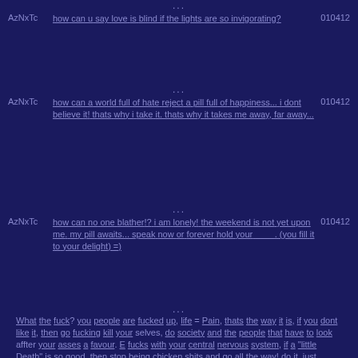...
AzNxTc   how can u say love is blind if the lights are so invigorating?   010412
...
AzNxTc   how can a world full of hate reject a pill full of happiness... i dont believe it! thats why i take it. thats why it takes me away, far away...   010412
...
AzNxTc   how can no one blather!? i am lonely! the weekend is not yet upon me. my pill awaits... speak now or forever hold your ____. (you fill it to your delight) =)   010412
...
What the fuck? you people are fucked up, life = Pain, thats the way it is, if you dont like it, then go fucking kill your selves, do society and the people that have to look affter your asses a favour. E fucks with your central nervous system, if a "little Death" is so good, then stop being chicken shits and go all the way! do it, just fucking